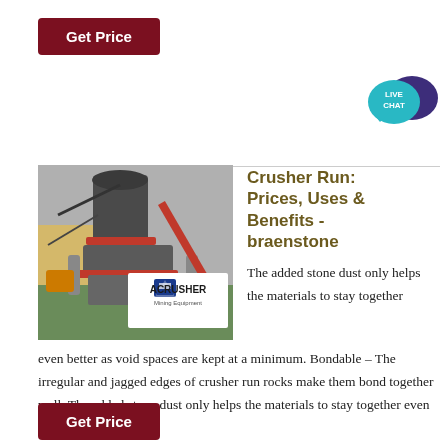Get Price
[Figure (illustration): Live Chat bubble icon with speech bubble, teal and dark purple colors]
[Figure (photo): Industrial crusher machine (cone crusher) in a factory setting with red trim and ACRUSHER Mining Equipment logo overlay]
Crusher Run: Prices, Uses & Benefits - braenstone
The added stone dust only helps the materials to stay together even better as void spaces are kept at a minimum. Bondable – The irregular and jagged edges of crusher run rocks make them bond together well. The added stone dust only helps the materials to stay together even better as .
Get Price